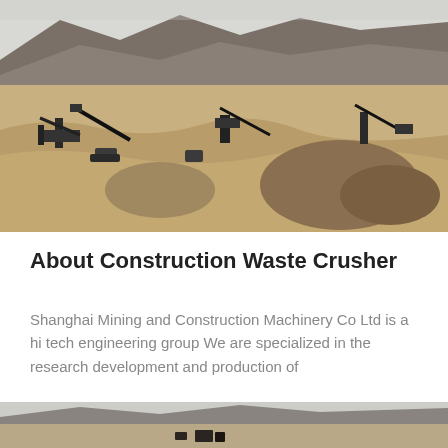[Figure (photo): Aerial view of a large open-pit mining or quarrying operation in a desert/arid landscape, with heavy machinery, conveyor belts, and piles of crushed rock material. Mountains visible in the background.]
About Construction Waste Crusher
Shanghai Mining and Construction Machinery Co Ltd is a hi tech engineering group We are specialized in the research development and production of
[Figure (photo): Partial view of another mining/construction machinery scene, cropped at bottom of page.]